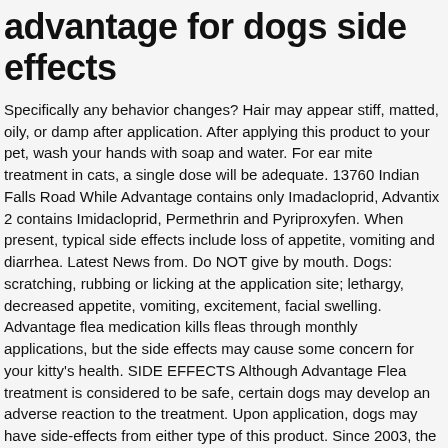advantage for dogs side effects
Specifically any behavior changes? Hair may appear stiff, matted, oily, or damp after application. After applying this product to your pet, wash your hands with soap and water. For ear mite treatment in cats, a single dose will be adequate. 13760 Indian Falls Road While Advantage contains only Imadacloprid, Advantix 2 contains Imidacloprid, Permethrin and Pyriproxyfen. When present, typical side effects include loss of appetite, vomiting and diarrhea. Latest News from. Do NOT give by mouth. Dogs: scratching, rubbing or licking at the application site; lethargy, decreased appetite, vomiting, excitement, facial swelling. Advantage flea medication kills fleas through monthly applications, but the side effects may cause some concern for your kitty's health. SIDE EFFECTS Although Advantage Flea treatment is considered to be safe, certain dogs may develop an adverse reaction to the treatment. Upon application, dogs may have side-effects from either type of this product. Since 2003, the oral (liquid) formulations of meloxicam have been licensed in the U.S. for use in dogs only, with the January 2005 product insert specifically warning in bold-face type: "Do not use in cats."